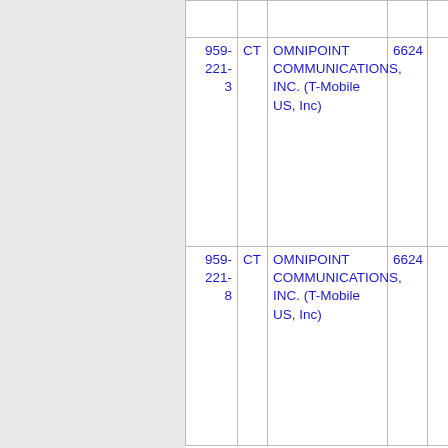| Number | State | Name | Code | ... |
| --- | --- | --- | --- | --- |
|  |  |  |  |  |
| 959-221-3 | CT | OMNIPOINT COMMUNICATIONS, INC. (T-Mobile US, Inc) | 6624 |  |
|  |  |  |  |  |
| 959-221-8 | CT | OMNIPOINT COMMUNICATIONS, INC. (T-Mobile US, Inc) | 6624 |  |